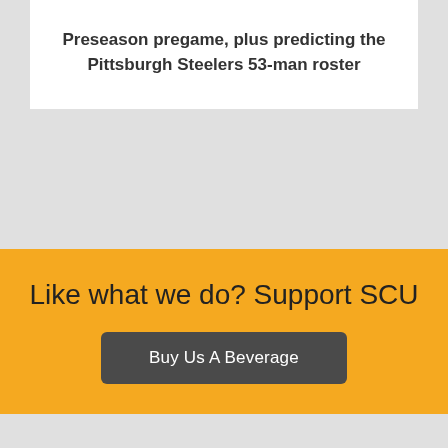Preseason pregame, plus predicting the Pittsburgh Steelers 53-man roster
Like what we do? Support SCU
Buy Us A Beverage